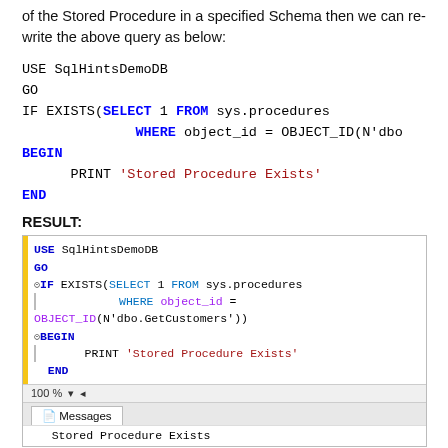of the Stored Procedure in a specified Schema then we can re-write the above query as below:
USE SqlHintsDemoDB
GO
IF EXISTS(SELECT 1 FROM sys.procedures
          WHERE object_id = OBJECT_ID(N'dbo
BEGIN
    PRINT 'Stored Procedure Exists'
END
RESULT:
[Figure (screenshot): SQL Server Management Studio screenshot showing code: USE SqlHintsDemoDB, GO, IF EXISTS(SELECT 1 FROM sys.procedures WHERE object_id = OBJECT_ID(N'dbo.GetCustomers')), BEGIN, PRINT 'Stored Procedure Exists', END. Below shows Messages tab with output: Stored Procedure Exists]
If you want to check the existence of a stored procedure in a